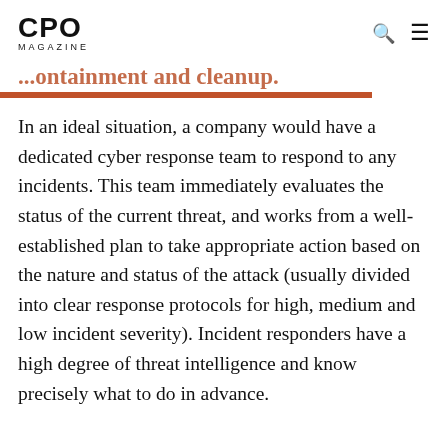CPO MAGAZINE
…ontainment and cleanup.
In an ideal situation, a company would have a dedicated cyber response team to respond to any incidents. This team immediately evaluates the status of the current threat, and works from a well-established plan to take appropriate action based on the nature and status of the attack (usually divided into clear response protocols for high, medium and low incident severity). Incident responders have a high degree of threat intelligence and know precisely what to do in advance.